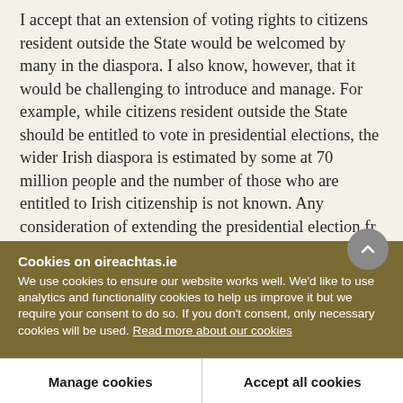I accept that an extension of voting rights to citizens resident outside the State would be welcomed by many in the diaspora. I also know, however, that it would be challenging to introduce and manage. For example, while citizens resident outside the State should be entitled to vote in presidential elections, the wider Irish diaspora is estimated by some at 70 million people and the number of those who are entitled to Irish citizenship is not known. Any consideration of extending the presidential election fr...
Cookies on oireachtas.ie
We use cookies to ensure our website works well. We'd like to use analytics and functionality cookies to help us improve it but we require your consent to do so. If you don't consent, only necessary cookies will be used. Read more about our cookies
Manage cookies
Accept all cookies